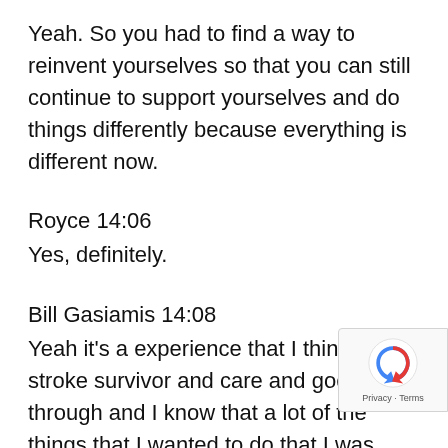Yeah. So you had to find a way to reinvent yourselves so that you can still continue to support yourselves and do things differently because everything is different now.
Royce 14:06
Yes, definitely.
Bill Gasiamis 14:08
Yeah it's a experience that I think every stroke survivor and care and goes through and I know that a lot of the things that I wanted to do that I was motivated to get back to work to do and I was lucky because the damage that happened to me w so dramatic that I couldn't walk for months an months it was a number of months where I had to